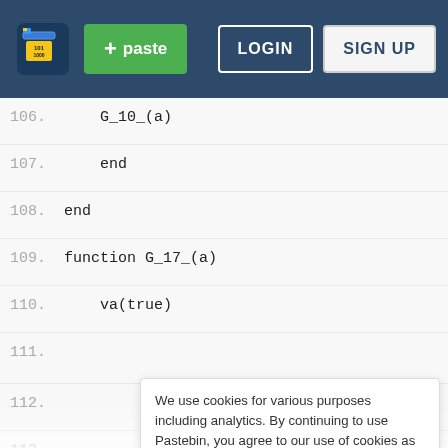[Figure (screenshot): Pastebin website navigation bar with logo, green paste button, LOGIN and SIGN UP buttons on dark blue background]
106.    G_10_(a)
107.    end
108. end
109. function G_17_(a)
110.    va(true)
111.
112.
113.
114.
115. end
116. function G_18_()
117.    if not nil or
     va.PlayerGui:FindFirstChild("PowerPlantRobberyGui")
     then
We use cookies for various purposes including analytics. By continuing to use Pastebin, you agree to our use of cookies as described in the Cookies Policy. OK, I Understand
Not a member of Pastebin yet? Sign Up, it unlocks many cool features!